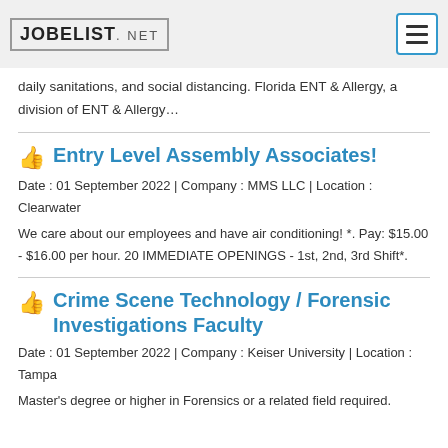JOBELIST.NET
daily sanitations, and social distancing. Florida ENT & Allergy, a division of ENT & Allergy…
Entry Level Assembly Associates!
Date : 01 September 2022 | Company : MMS LLC | Location : Clearwater
We care about our employees and have air conditioning! *. Pay: $15.00 - $16.00 per hour. 20 IMMEDIATE OPENINGS - 1st, 2nd, 3rd Shift*.
Crime Scene Technology / Forensic Investigations Faculty
Date : 01 September 2022 | Company : Keiser University | Location : Tampa
Master's degree or higher in Forensics or a related field required.